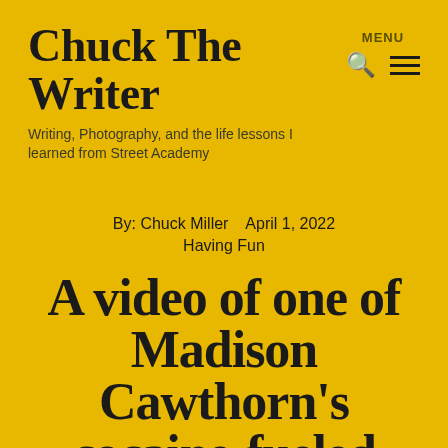Chuck The Writer
Writing, Photography, and the life lessons I learned from Street Academy
MENU
By:  Chuck Miller    April 1, 2022
Having Fun
A video of one of Madison Cawthorn's cocaine-fueled orgies just got leaked online. You'll never believe